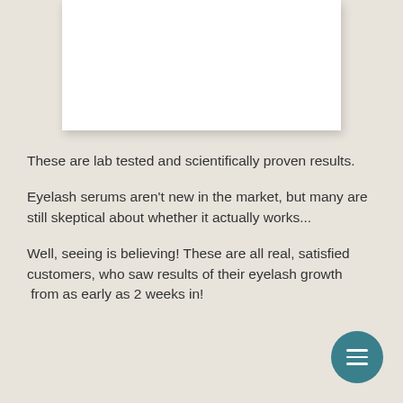[Figure (other): White card/image placeholder with shadow at the top of the page]
These are lab tested and scientifically proven results.
Eyelash serums aren’t new in the market, but many are still skeptical about whether it actually works...
Well, seeing is believing! These are all real, satisfied customers, who saw results of their eyelash growth  from as early as 2 weeks in!